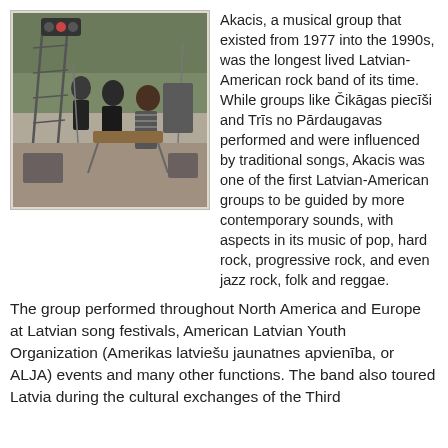[Figure (photo): Black and white / slightly warm-toned photograph of musicians performing outdoors with equipment and ladders visible in the background, trees behind them.]
Akacis, a musical group that existed from 1977 into the 1990s, was the longest lived Latvian-American rock band of its time. While groups like Čikāgas piecīši and Trīs no Pārdaugavas performed and were influenced by traditional songs, Akacis was one of the first Latvian-American groups to be guided by more contemporary sounds, with aspects in its music of pop, hard rock, progressive rock, and even jazz rock, folk and reggae.
The group performed throughout North America and Europe at Latvian song festivals, American Latvian Youth Organization (Amerikas latviešu jaunatnes apvienība, or ALJA) events and many other functions. The band also toured Latvia during the cultural exchanges of the Third